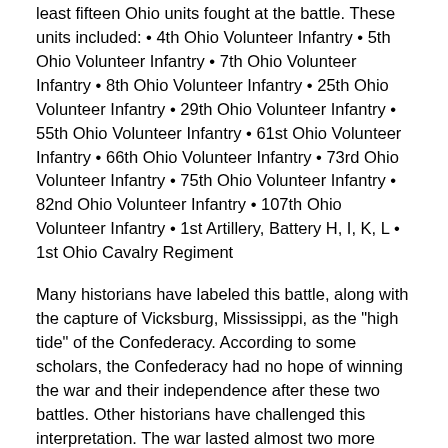least fifteen Ohio units fought at the battle. These units included: • 4th Ohio Volunteer Infantry • 5th Ohio Volunteer Infantry • 7th Ohio Volunteer Infantry • 8th Ohio Volunteer Infantry • 25th Ohio Volunteer Infantry • 29th Ohio Volunteer Infantry • 55th Ohio Volunteer Infantry • 61st Ohio Volunteer Infantry • 66th Ohio Volunteer Infantry • 73rd Ohio Volunteer Infantry • 75th Ohio Volunteer Infantry • 82nd Ohio Volunteer Infantry • 107th Ohio Volunteer Infantry • 1st Artillery, Battery H, I, K, L • 1st Ohio Cavalry Regiment
Many historians have labeled this battle, along with the capture of Vicksburg, Mississippi, as the "high tide" of the Confederacy. According to some scholars, the Confederacy had no hope of winning the war and their independence after these two battles. Other historians have challenged this interpretation. The war lasted almost two more years. The Confederacy did not simply give up the fight after these two defeats. Confederates, both soldiers and civilians, remained hopeful in their diaries and letters that they would win the wider war.
These defeats did discourage some Confederates. Other